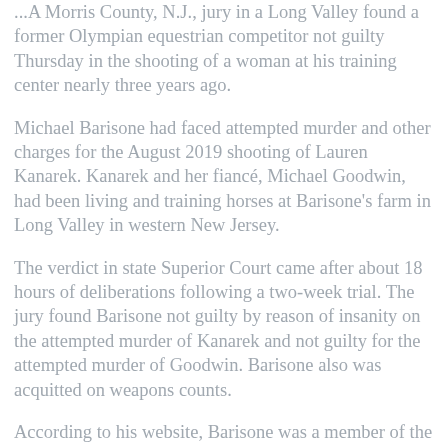...A Morris County, N.J., jury in a Long Valley found a former Olympian equestrian competitor not guilty Thursday in the shooting of a woman at his training center nearly three years ago.
Michael Barisone had faced attempted murder and other charges for the August 2019 shooting of Lauren Kanarek. Kanarek and her fiancé, Michael Goodwin, had been living and training horses at Barisone's farm in Long Valley in western New Jersey.
The verdict in state Superior Court came after about 18 hours of deliberations following a two-week trial. The jury found Barisone not guilty by reason of insanity on the attempted murder of Kanarek and not guilty for the attempted murder of Goodwin. Barisone also was acquitted on weapons counts.
According to his website, Barisone was a member of the 2008 Olympic team and the 1997 gold medal-winning Nations Cup team in Hickstead, England. It said he and...